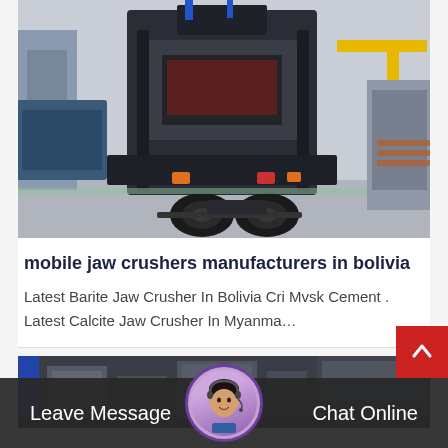[Figure (photo): A large mobile jaw crusher machine mounted on a truck/trailer chassis, photographed in an industrial warehouse or factory setting.]
mobile jaw crushers manufacturers in bolivia
Latest Barite Jaw Crusher In Bolivia Cri Mvsk Cement . Latest Calcite Jaw Crusher In Myanma…
[Figure (photo): A factory interior with industrial equipment, partially visible at the bottom of the page.]